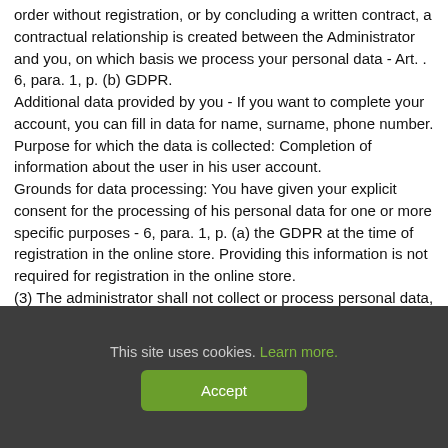order without registration, or by concluding a written contract, a contractual relationship is created between the Administrator and you, on which basis we process your personal data - Art. . 6, para. 1, p. (b) GDPR. Additional data provided by you - If you want to complete your account, you can fill in data for name, surname, phone number. Purpose for which the data is collected: Completion of information about the user in his user account. Grounds for data processing: You have given your explicit consent for the processing of his personal data for one or more specific purposes - 6, para. 1, p. (a) the GDPR at the time of registration in the online store. Providing this information is not required for registration in the online store. (3) The administrator shall not collect or process personal data, which refer to the following: reveal racial or ethnic origin; disclose political, religious or philosophical beliefs, or trade union membership; genetic and biometric data, health data or data on sexual life or sexual orientation. (4) The personal data are collected by the Administrator from
This site uses cookies. Learn more.
Accept